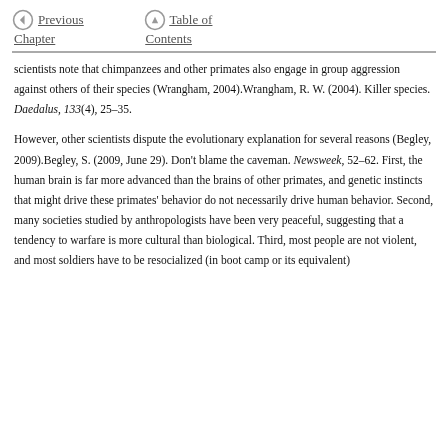Previous Chapter   Table of Contents
scientists note that chimpanzees and other primates also engage in group aggression against others of their species (Wrangham, 2004).Wrangham, R. W. (2004). Killer species. Daedalus, 133(4), 25–35.
However, other scientists dispute the evolutionary explanation for several reasons (Begley, 2009).Begley, S. (2009, June 29). Don't blame the caveman. Newsweek, 52–62. First, the human brain is far more advanced than the brains of other primates, and genetic instincts that might drive these primates' behavior do not necessarily drive human behavior. Second, many societies studied by anthropologists have been very peaceful, suggesting that a tendency to warfare is more cultural than biological. Third, most people are not violent, and most soldiers have to be resocialized (in boot camp or its equivalent)